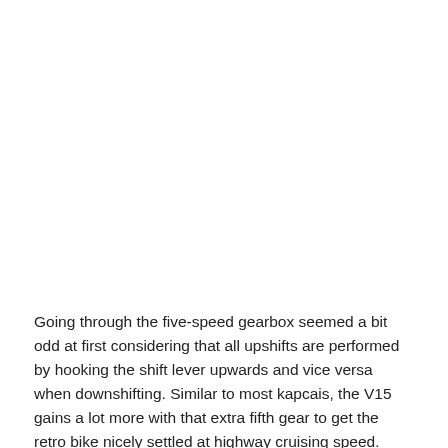Going through the five-speed gearbox seemed a bit odd at first considering that all upshifts are performed by hooking the shift lever upwards and vice versa when downshifting. Similar to most kapcais, the V15 gains a lot more with that extra fifth gear to get the retro bike nicely settled at highway cruising speed.